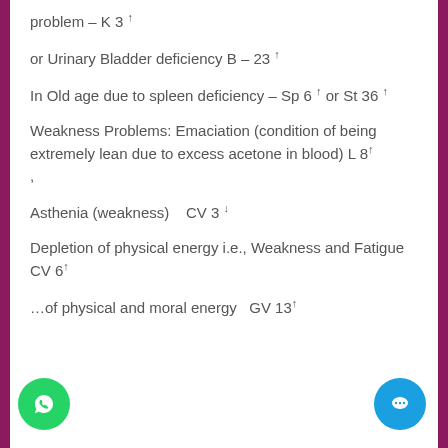problem – K 3 ↑
or Urinary Bladder deficiency B – 23 ↑
In Old age due to spleen deficiency – Sp 6 ↑ or St 36 ↑
Weakness Problems: Emaciation (condition of being extremely lean due to excess acetone in blood) L 8↑ ,
Asthenia (weakness)  CV 3 ↓
Depletion of physical energy i.e., Weakness and Fatigue CV 6↑
…of physical and moral energy  GV 13↑